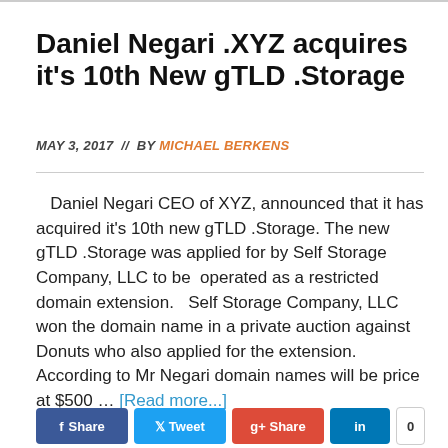Daniel Negari .XYZ acquires it's 10th New gTLD .Storage
MAY 3, 2017 // BY MICHAEL BERKENS
Daniel Negari CEO of XYZ, announced that it has acquired it's 10th new gTLD .Storage. The new gTLD .Storage was applied for by Self Storage Company, LLC to be operated as a restricted domain extension. Self Storage Company, LLC won the domain name in a private auction against Donuts who also applied for the extension. According to Mr Negari domain names will be price at $500 … [Read more...]